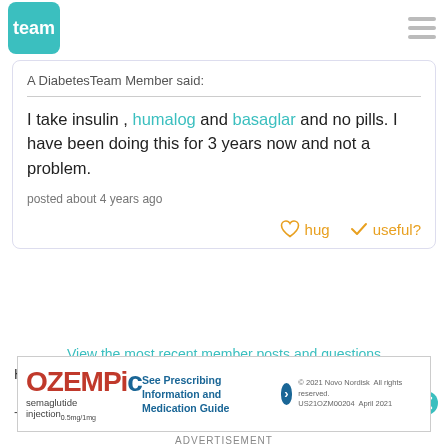[Figure (logo): DiabetesTeam 'team' logo in teal square, plus hamburger menu icon]
A DiabetesTeam Member said:
I take insulin , humalog and basaglar and no pills. I have been doing this for 3 years now and not a problem.
posted about 4 years ago
hug   useful?
View the most recent member posts and questions
Here are some additional questions to explore:
- Fortamet
[Figure (other): Ozempic advertisement banner: Ozempic semaglutide injection 0.5mg/1mg, See Prescribing Information and Medication Guide, © 2021 Novo Nordisk All rights reserved. US21OZM00204 April 2021]
ADVERTISEMENT